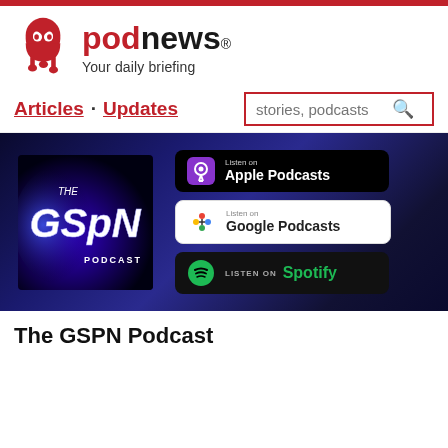podnews - Your daily briefing
Articles · Updates
[Figure (screenshot): The GSPN Podcast artwork and listening platform buttons (Apple Podcasts, Google Podcasts, Spotify) on a dark blue background]
The GSPN Podcast